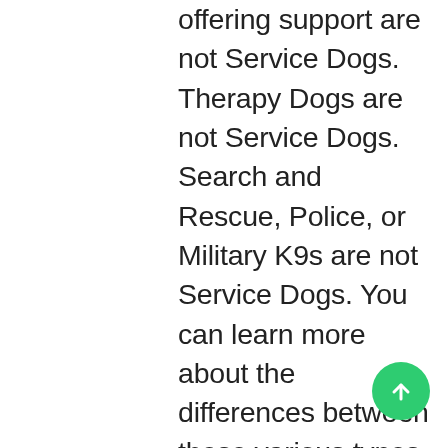offering support are not Service Dogs. Therapy Dogs are not Service Dogs. Search and Rescue, Police, or Military K9s are not Service Dogs. You can learn more about the differences between these various types of working dogs here. Fun Fact: The only other animal allowed to serve as an Assistance Animal in the United States is the miniature horse. Check out our guide on Miniature Horses as Service Animals for more info! 4. Service Dogs perform a diverse array of jobs. Service Dogs assist people with a wide range of disabilities. Common types of Service Dogs include visual assistance, hearing, allergen alert, brace and mobility support,
[Figure (other): Green circular floating action button with a white upward arrow icon]